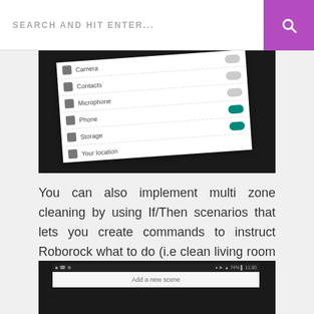SEARCH AND HIT ENTER...
[Figure (photo): Smartphone screen showing app permissions list including Camera, Contacts, Microphone, Phone (toggle on), Storage (toggle on), and Your location]
You can also implement multi zone cleaning by using If/Then scenarios that lets you create commands to instruct Roborock what to do (i.e clean living room after cleaning kitchen).
[Figure (photo): Smartphone screen showing an app interface with 'Add a new scene' option visible at the bottom]